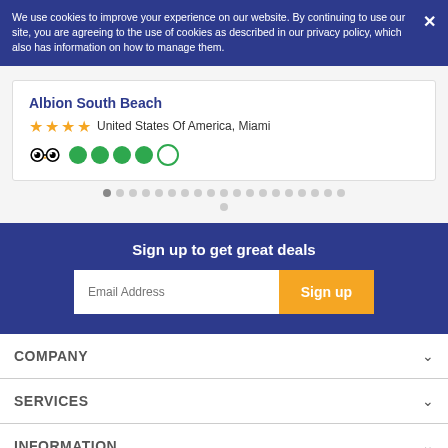We use cookies to improve your experience on our website. By continuing to use our site, you are agreeing to the use of cookies as described in our privacy policy, which also has information on how to manage them.
Albion South Beach
United States Of America, Miami
Sign up to get great deals
COMPANY
SERVICES
INFORMATION